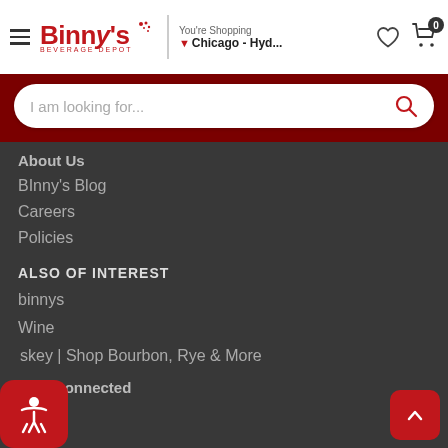[Figure (logo): Binny's Beverage Depot logo with red text and dots]
You're Shopping
Chicago - Hyd...
I am looking for...
About Us
BInny's Blog
Careers
Policies
ALSO OF INTEREST
binnys
Wine
skey | Shop Bourbon, Rye & More
Stay Connected